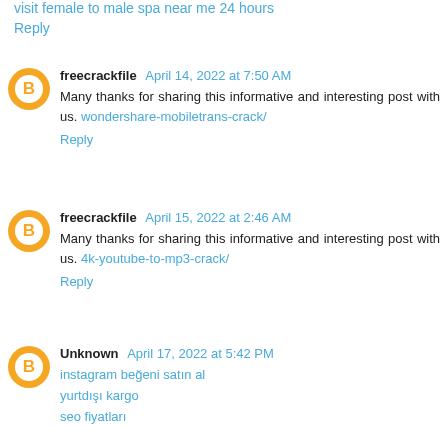visit female to male spa near me 24 hours
Reply
freecrackfile April 14, 2022 at 7:50 AM
Many thanks for sharing this informative and interesting post with us. wondershare-mobiletrans-crack/
Reply
freecrackfile April 15, 2022 at 2:46 AM
Many thanks for sharing this informative and interesting post with us. 4k-youtube-to-mp3-crack/
Reply
Unknown April 17, 2022 at 5:42 PM
instagram beğeni satın al
yurtdışı kargo
seo fiyatları